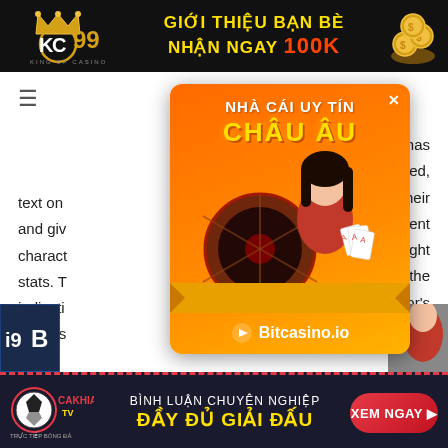[Figure (screenshot): Top banner with KC99 casino logo on black background, yellow text reading GIỚI THIỆU BẠN BÈ NHẬN NGAY 100K with coin image]
[Figure (screenshot): Orange popup advertisement for NHÀ CÁI UY TÍN CHÂU ÂU showing casino girl with cards and Bitcasino.io branding]
er has text on inspired, and give on their character current stats. The right indication aves the players actor's
[Figure (screenshot): Bottom banner with CAKHIA TV logo and BÌNH LUẬN CHUYÊN NGHIỆP ĐẦY ĐỦ GIẢI ĐẤU text with XEM NGAY button]